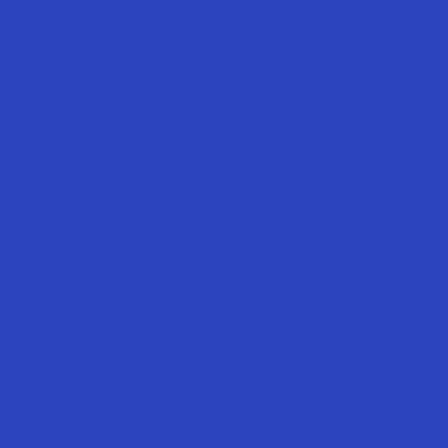1. Originating Correspondence in Hindi (including Tel Wireless, Telex, Fax, Drawings
2. Noting in Hindi
3. Recruitment of Hind & Stenographers
4. Purchase of Devna Typewriters
5. Hindi Training
6. Expenditure for the purchase of Hindi books out of th